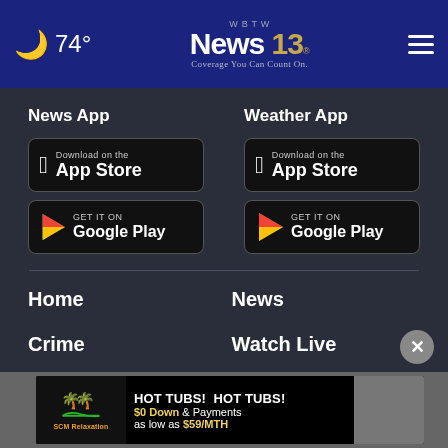74° | WBTW News 13 - Coverage You Can Count On.
News App
[Figure (screenshot): Download on the App Store button for News App]
[Figure (screenshot): GET IT ON Google Play button for News App]
Weather App
[Figure (screenshot): Download on the App Store button for Weather App]
[Figure (screenshot): GET IT ON Google Play button for Weather App]
Home
News
Crime
Watch Live
Sports
Video
TV Sc...
[Figure (screenshot): HOT TUBS! HOT TUBS! $0 Down & Payments as low as $59/MTH advertisement banner by SCM Relaxation]